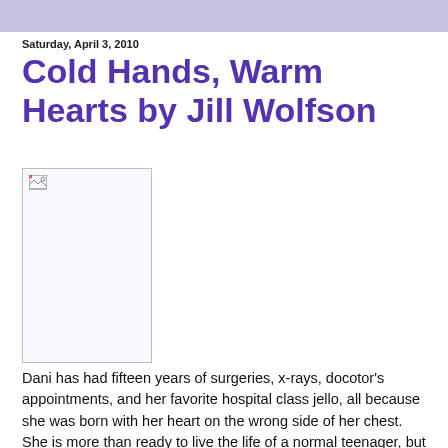Saturday, April 3, 2010
Cold Hands, Warm Hearts by Jill Wolfson
[Figure (photo): Book cover image placeholder (broken image icon shown)]
Dani has had fifteen years of surgeries, x-rays, docotor's appointments, and her favorite hospital class jello, all because she was born with her heart on the wrong side of her chest. She is more than ready to live the life of a normal teenager, but it will never happen until she has a new